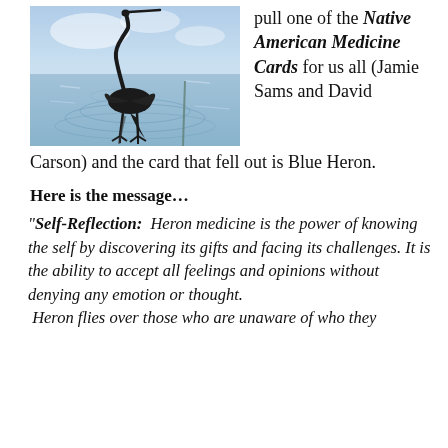[Figure (photo): Silhouette of a Blue Heron wading in water with a blue sky reflection on the water surface]
pull one of the Native American Medicine Cards for us all (Jamie Sams and David Carson) and the card that fell out is Blue Heron.
Here is the message…
“Self-Reflection:  Heron medicine is the power of knowing the self by discovering its gifts and facing its challenges. It is the ability to accept all feelings and opinions without denying any emotion or thought.  Heron flies over those who are unaware of who they